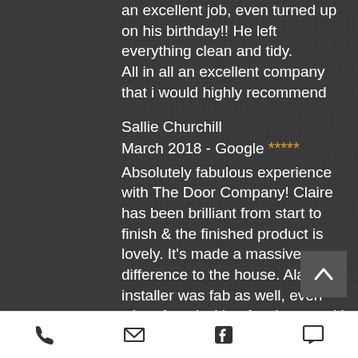an excellent job, even turned up on his birthday!! He left everything clean and tidy.
All in all an excellent company that i would highly recommend
Sallie Churchill
March 2018 - Google ★★★★★
Absolutely fabulous experience with The Door Company! Claire has been brilliant from start to finish & the finished product is lovely. It's made a massive difference to the house. Alan the installer was fab as well, even when faced with a few issues with our old door frame! Would most definitely recommend The
[Figure (other): Back-to-top arrow button in grey square]
[Figure (other): Bottom navigation toolbar with phone, email, Facebook, and chat icons]